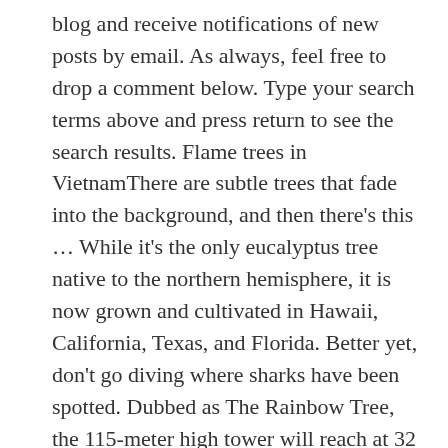blog and receive notifications of new posts by email. As always, feel free to drop a comment below. Type your search terms above and press return to see the search results. Flame trees in VietnamThere are subtle trees that fade into the background, and then there's this … While it's the only eucalyptus tree native to the northern hemisphere, it is now grown and cultivated in Hawaii, California, Texas, and Florida. Better yet, don't go diving where sharks have been spotted. Dubbed as The Rainbow Tree, the 115-meter high tower will reach at 32 story and contains 300 apartment units, including mixed-use residential, condominium with retail and serviced apartments. Coming from the Melvin Jones football stage, walk straight ahead in the direction of Hotel Veniz, it is on the left side of the sidewalk where the flower stalls are. Three years ago I purchased a Seedling of a